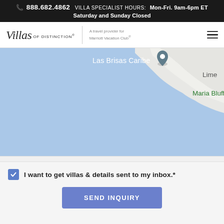📞 888.682.4862  VILLA SPECIALIST HOURS:  Mon-Fri. 9am-6pm ET  Saturday and Sunday Closed
[Figure (logo): Villas of Distinction logo with tagline 'A travel provider for Marriott Vacation Club®' and hamburger menu icon]
[Figure (map): Google Maps view showing Las Brisas Caribe location pin, Maria Bluff label, and Lime area label, mostly blue ocean water with coastline]
I want to get villas & details sent to my inbox.*
SEND INQUIRY